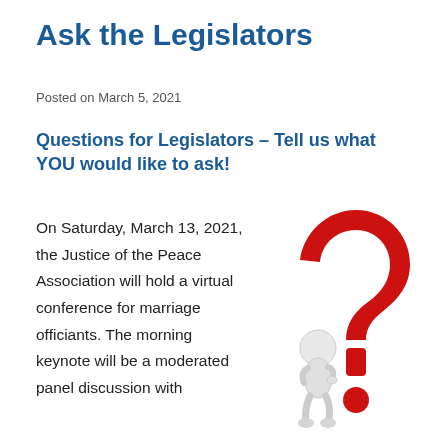Ask the Legislators
Posted on March 5, 2021
Questions for Legislators – Tell us what YOU would like to ask!
On Saturday, March 13, 2021, the Justice of the Peace Association will hold a virtual conference for marriage officiants. The morning keynote will be a moderated panel discussion with
[Figure (illustration): A white 3D figure of a person leaning against a large red question mark, thinking pose, with a small red ball at the base.]